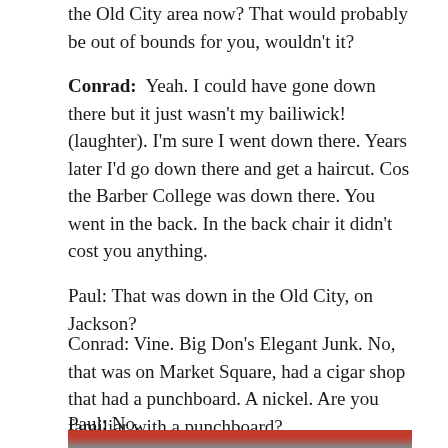the Old City area now? That would probably be out of bounds for you, wouldn't it?
Conrad:  Yeah. I could have gone down there but it just wasn't my bailiwick! (laughter). I'm sure I went down there. Years later I'd go down there and get a haircut. Cos the Barber College was down there. You went in the back. In the back chair it didn't cost you anything.
Paul: That was down in the Old City, on Jackson?
Conrad: Vine. Big Don's Elegant Junk. No, that was on Market Square, had a cigar shop that had a punchboard. A nickel. Are you familiar with a punchboard?
Paul: No.
[Figure (photo): Bottom edge of a photograph showing red and grey objects, partially visible at the bottom of the page.]